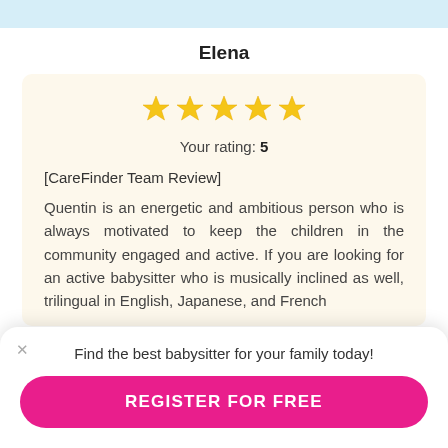Elena
[Figure (other): Five gold star rating icons]
Your rating: 5
[CareFinder Team Review]
Quentin is an energetic and ambitious person who is always motivated to keep the children in the community engaged and active. If you are looking for an active babysitter who is musically inclined as well, trilingual in English, Japanese, and French
Find the best babysitter for your family today!
REGISTER FOR FREE